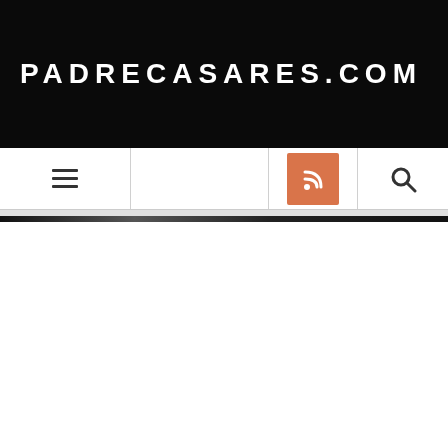PADRECASARES.COM
[Figure (screenshot): Navigation bar with hamburger menu icon, RSS feed orange button, and search icon]